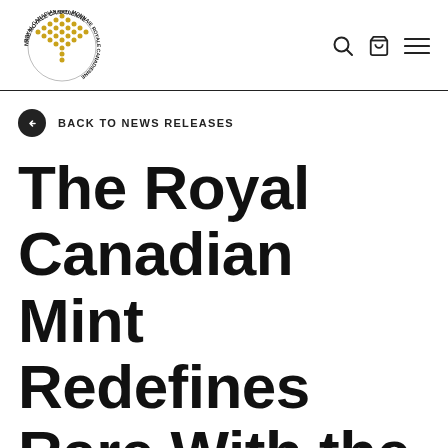Royal Canadian Mint — site header with logo, search, cart, and menu icons
← BACK TO NEWS RELEASES
The Royal Canadian Mint Redefines Rare With the Opulence Collection